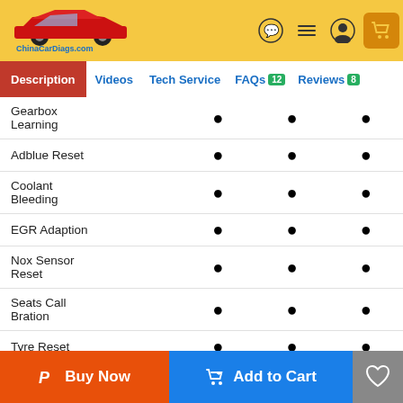[Figure (logo): ChinaCarDiags.com logo with red car silhouette on yellow header background]
Description | Videos | Tech Service | FAQs 12 | Reviews 8
| Feature | Col1 | Col2 | Col3 |
| --- | --- | --- | --- |
| Gearbox Learning | ● | ● | ● |
| Adblue Reset | ● | ● | ● |
| Coolant Bleeding | ● | ● | ● |
| EGR Adaption | ● | ● | ● |
| Nox Sensor Reset | ● | ● | ● |
| Seats Call Bration | ● | ● | ● |
| Tyre Reset | ● | ● | ● |
| Windows Calibration |  | ● | ● |
| ABS... |  |  |  |
Buy Now | Add to Cart | ♡